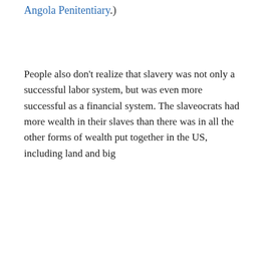Angola Penitentiary.)
People also don't realize that slavery was not only a successful labor system, but was even more successful as a financial system. The slaveocrats had more wealth in their slaves than there was in all the other forms of wealth put together in the US, including land and big...
Privacy & Cookies: This site uses cookies. By continuing to use this website, you agree to their use.
To find out more, including how to control cookies, see here: Cookie Policy